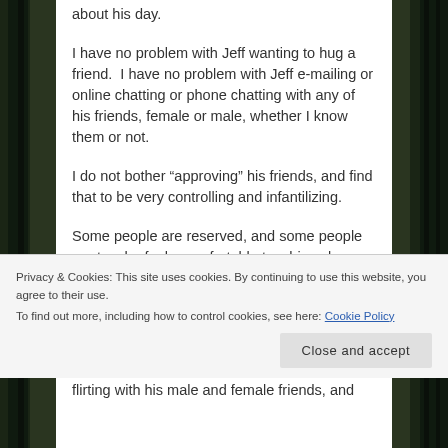about his day.
I have no problem with Jeff wanting to hug a friend.  I have no problem with Jeff e-mailing or online chatting or phone chatting with any of his friends, female or male, whether I know them or not.
I do not bother “approving” his friends, and find that to be very controlling and infantilizing.
Some people are reserved, and some people are touchy-feely, comfortable touching close...
Privacy & Cookies: This site uses cookies. By continuing to use this website, you agree to their use.
To find out more, including how to control cookies, see here: Cookie Policy
flirting with his male and female friends, and